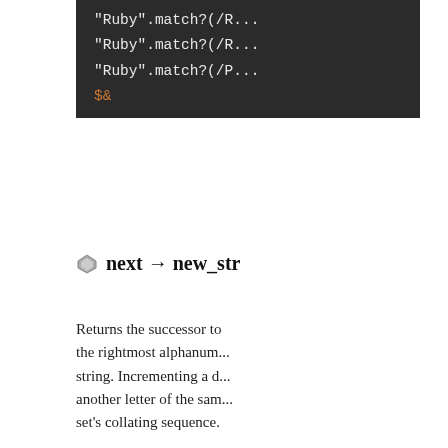[Figure (screenshot): Dark-themed code block showing Ruby match? method calls with regex patterns and $& variable]
next → new_str
Returns the successor to str. The successor is calculated by incrementing characters starting from the rightmost alphanumeric (or the rightmost character if there are no alphanumerics) in the string. Incrementing a digit always results in another digit, and incrementing a letter results in another letter of the same case. If the increment generates a "carry," the character to the left of it is incremented. This process repeats until there is no carry, adding an additional character if necessary.
If the increment generates a carry, the process repeats until there is no
[Figure (screenshot): Dark-themed code block showing Ruby succ method calls on strings: abcd, THX1138, <<koala>>, 1999zzz]